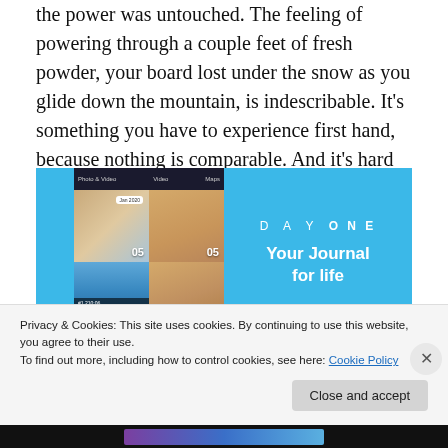the power was untouched. The feeling of powering through a couple feet of fresh powder, your board lost under the snow as you glide down the mountain, is indescribable. It's something you have to experience first hand, because nothing is comparable. And it's hard to believe this is just the beginning. The snow has just begun.
[Figure (screenshot): Day One journaling app screenshot and promotional banner. Left side shows app interface with photo grid (indoor/outdoor photos with date labels '05'). Right side shows light blue background with text 'DAY ONE' and 'Your Journal for life'.]
Privacy & Cookies: This site uses cookies. By continuing to use this website, you agree to their use.
To find out more, including how to control cookies, see here: Cookie Policy
Close and accept